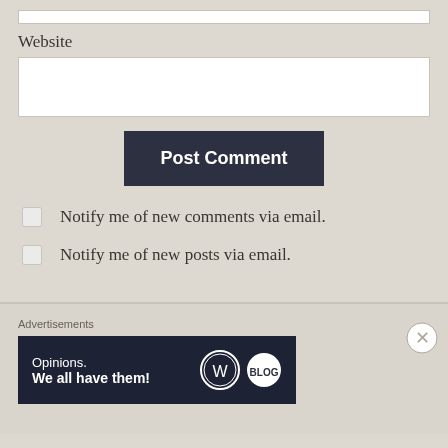Website
Post Comment
Notify me of new comments via email.
Notify me of new posts via email.
Advertisements
[Figure (screenshot): Advertisement banner with dark navy background showing 'Opinions. We all have them!' text with WordPress and Blog logo icons]